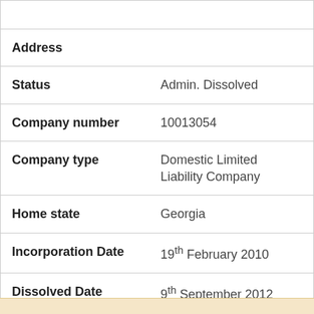| Field | Value |
| --- | --- |
| Address |  |
| Status | Admin. Dissolved |
| Company number | 10013054 |
| Company type | Domestic Limited Liability Company |
| Home state | Georgia |
| Incorporation Date | 19th February 2010 |
| Dissolved Date | 9th September 2012 |